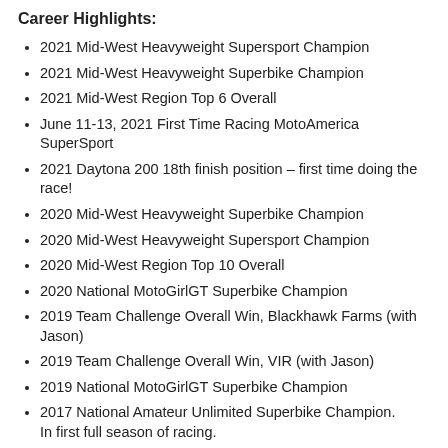Career Highlights:
2021 Mid-West Heavyweight Supersport Champion
2021 Mid-West Heavyweight Superbike Champion
2021 Mid-West Region Top 6 Overall
June 11-13, 2021 First Time Racing MotoAmerica SuperSport
2021 Daytona 200 18th finish position – first time doing the race!
2020 Mid-West Heavyweight Superbike Champion
2020 Mid-West Heavyweight Supersport Champion
2020 Mid-West Region Top 10 Overall
2020 National MotoGirlGT Superbike Champion
2019 Team Challenge Overall Win, Blackhawk Farms (with Jason)
2019 Team Challenge Overall Win, VIR (with Jason)
2019 National MotoGirlGT Superbike Champion
2017 National Amateur Unlimited Superbike Champion. In first full season of racing.
First female to win a National Unlimited Class Championship in